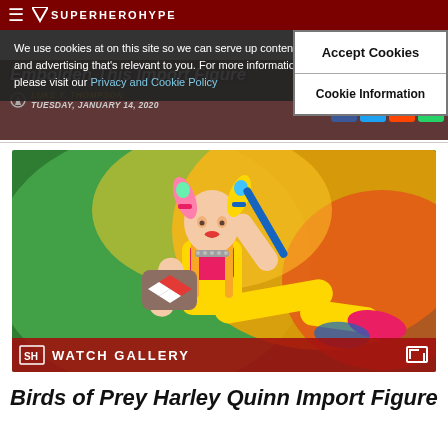SuperHeroHype
We use cookies at on this site so we can serve up content and advertising that's relevant to you. For more information, please visit our Privacy and Cookie Policy
Accept Cookies
Cookie Information
Embolden This Import Figure
LUKE Y. THOMPSON
TUESDAY, JANUARY 14, 2020
[Figure (photo): Harley Quinn action figure in gold overalls holding a mallet, posed against a colorful green-to-orange gradient background. Watch Gallery overlay at the bottom.]
Birds of Prey Harley Quinn Import Figure